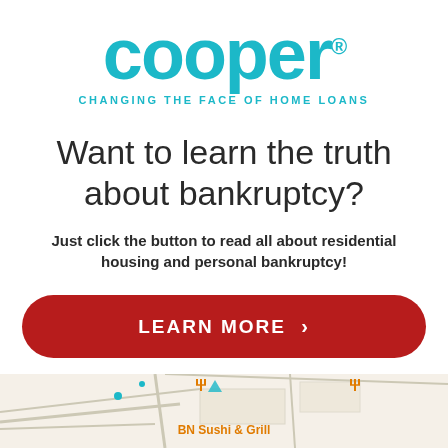[Figure (logo): Cooper logo in teal/turquoise with registered trademark symbol and tagline 'CHANGING THE FACE OF HOME LOANS']
Want to learn the truth about bankruptcy?
Just click the button to read all about residential housing and personal bankruptcy!
LEARN MORE >
[Figure (map): Partial map screenshot showing streets, restaurant icons, and 'BN Sushi & Grill' label in orange]